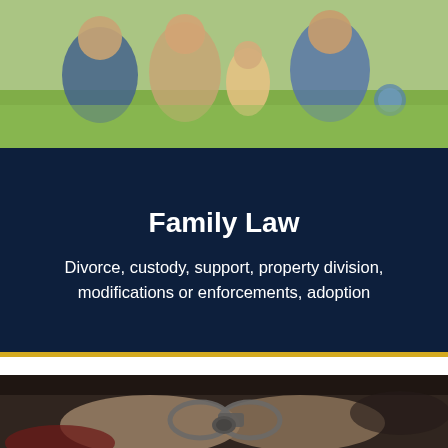[Figure (photo): Family sitting on grass outdoors — adults and children together, casual setting]
Family Law
Divorce, custody, support, property division, modifications or enforcements, adoption
[Figure (photo): Close-up of hands in handcuffs being restrained by another person — criminal arrest scene]